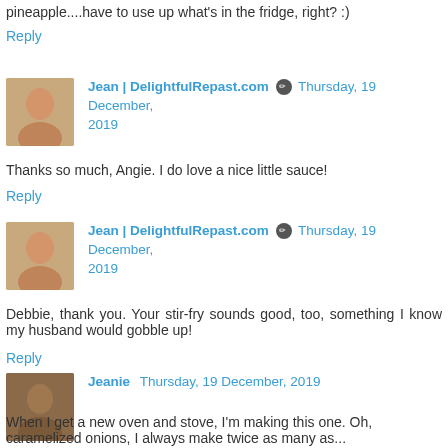pineapple....have to use up what's in the fridge, right? :)
Reply
Jean | DelightfulRepast.com  Thursday, 19 December, 2019
Thanks so much, Angie. I do love a nice little sauce!
Reply
Jean | DelightfulRepast.com  Thursday, 19 December, 2019
Debbie, thank you. Your stir-fry sounds good, too, something I know my husband would gobble up!
Reply
Jeanie  Thursday, 19 December, 2019
When I get a new oven and stove, I'm making this one. Oh, caramelized onions, I always make twice as many as...